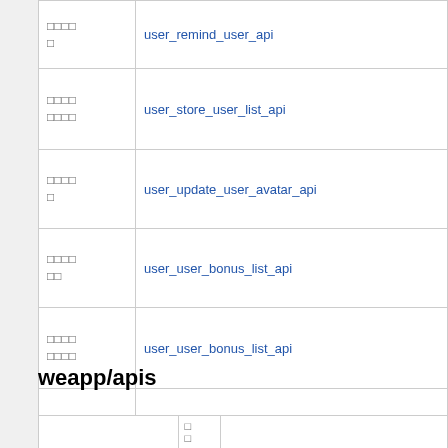| 描述 | API |
| --- | --- |
| □□□□□ | user_remind_user_api |
| □□□□ □□□□ | user_store_user_list_api |
| □□□□□ | user_update_user_avatar_api |
| □□□□ □□ | user_user_bonus_list_api |
| □□□□ □□□□ | user_user_bonus_list_api |
| □□□□ □□□□ | user_user_bonus_number_api |
| □□□□ | user_user_info_api |
| □□□□ | user_user_stats_api |
weapp/apis
|  | □ |  |
| --- | --- | --- |